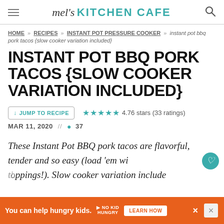mel's KITCHEN CAFE
HOME » RECIPES » INSTANT POT PRESSURE COOKER » instant pot bbq pork tacos {slow cooker variation included}
INSTANT POT BBQ PORK TACOS {SLOW COOKER VARIATION INCLUDED}
↓ JUMP TO RECIPE   ★★★★★ 4.76 stars (33 ratings)
MAR 11, 2020  //  💬 37
These Instant Pot BBQ pork tacos are flavorful, tender and so easy (load 'em with toppings!). Slow cooker variation include...
[Figure (other): No Kid Hungry advertisement banner: orange background with text 'You can help hungry kids.' No Kid Hungry logo and 'LEARN HOW' button]